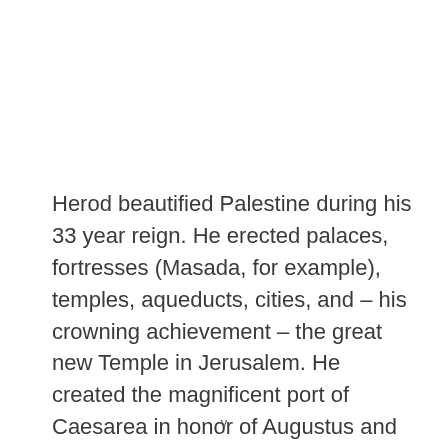Herod beautified Palestine during his 33 year reign. He erected palaces, fortresses (Masada, for example), temples, aqueducts, cities, and – his crowning achievement – the great new Temple in Jerusalem. He created the magnificent port of Caesarea in honor of Augustus and stimulated trade and commerce. He also patronized culture in cities far from Palestine and easily became the talk of the
v